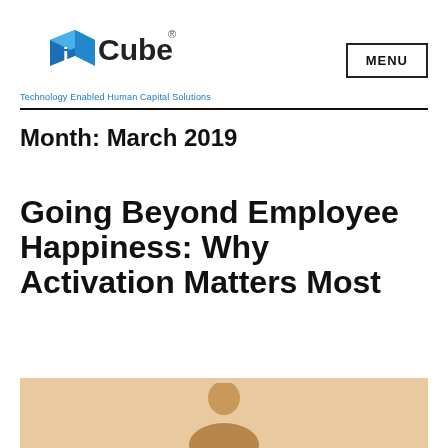[Figure (logo): iCube logo with blue cube icon and registered trademark symbol, tagline: Technology Enabled Human Capital Solutions]
MENU
Month: March 2019
Going Beyond Employee Happiness: Why Activation Matters Most
[Figure (photo): Partial photo with warm beige/tan background showing top of a person's head]